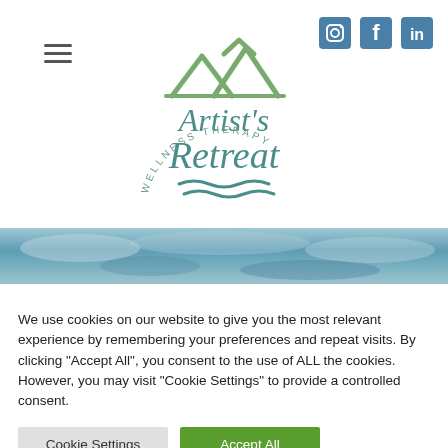[Figure (logo): Artist's Retreat Wellness Therapy logo with green roof/mountain peaks above stylized text and wavy water lines below, circular layout]
[Figure (illustration): Social media icons: Instagram camera, Facebook f, LinkedIn in — all in steel blue squares]
[Figure (photo): Horizontal strip of ocean or cloudy water/sky texture in muted teal and blue tones]
We use cookies on our website to give you the most relevant experience by remembering your preferences and repeat visits. By clicking "Accept All", you consent to the use of ALL the cookies. However, you may visit "Cookie Settings" to provide a controlled consent.